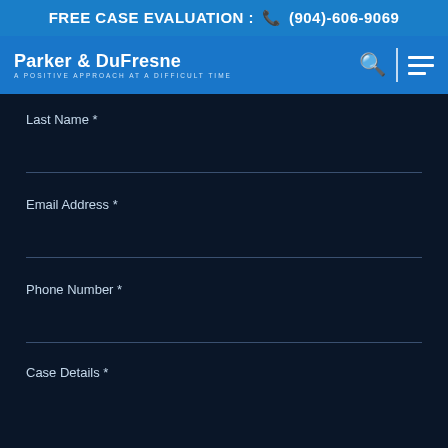FREE CASE EVALUATION : (904)-606-9069
Parker & DuFresne — A Positive Approach at a Difficult Time
Last Name *
Email Address *
Phone Number *
Case Details *
BOOK FREE CONSULTATION